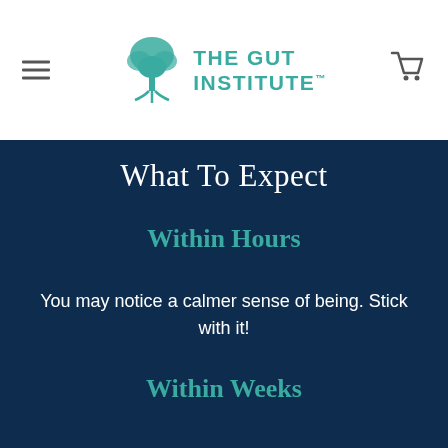THE GUT INSTITUTE
What To Expect
Within Hours
You may notice a calmer sense of being. Stick with it!
Within Weeks